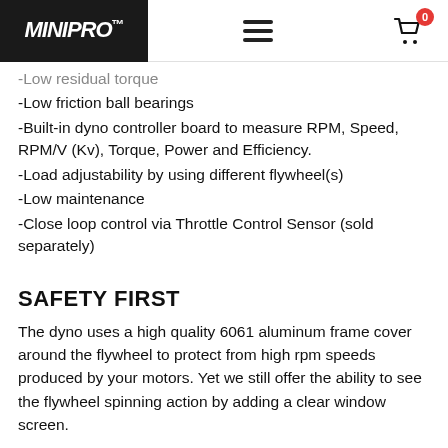miniPRO logo, navigation menu, cart with 0 items
-Low residual torque
-Low friction ball bearings
-Built-in dyno controller board to measure RPM, Speed, RPM/V (Kv), Torque, Power and Efficiency.
-Load adjustability by using different flywheel(s)
-Low maintenance
-Close loop control via Throttle Control Sensor (sold separately)
SAFETY FIRST
The dyno uses a high quality 6061 aluminum frame cover around the flywheel to protect from high rpm speeds produced by your motors. Yet we still offer the ability to see the flywheel spinning action by adding a clear window screen.